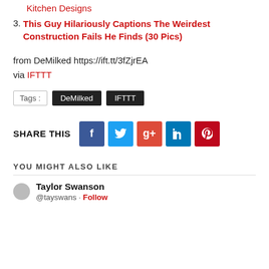Kitchen Designs
3. This Guy Hilariously Captions The Weirdest Construction Fails He Finds (30 Pics)
from DeMilked https://ift.tt/3fZjrEA
via IFTTT
Tags : DeMilked  IFTTT
SHARE THIS
YOU MIGHT ALSO LIKE
Taylor Swanson
@tayswans · Follow